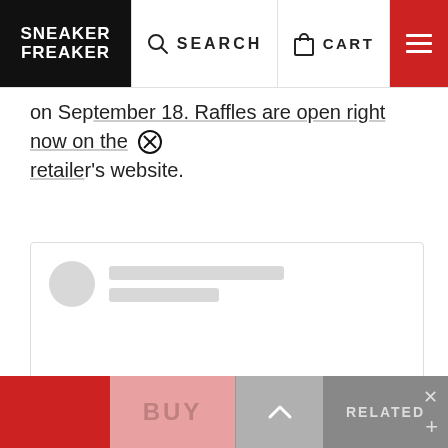SNEAKER FREAKER — SEARCH — CART — menu
on September 18. Raffles are open right now on the retailer's website.
[Figure (screenshot): Embedded Instagram post placeholder with skeleton loading UI (grey avatar and lines) and Instagram logo icon centered]
BUY  ^  RELATED  X  +